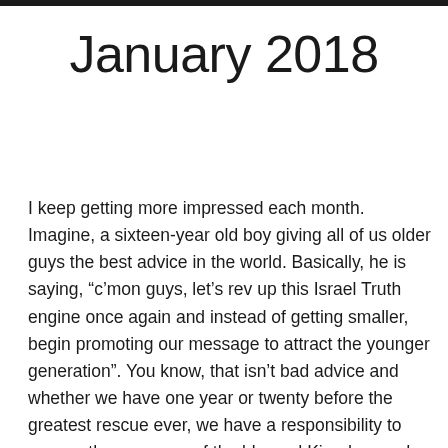January 2018
I keep getting more impressed each month. Imagine, a sixteen-year old boy giving all of us older guys the best advice in the world. Basically, he is saying, “c’mon guys, let’s rev up this Israel Truth engine once again and instead of getting smaller, begin promoting our message to attract the younger generation”. You know, that isn’t bad advice and whether we have one year or twenty before the greatest rescue ever, we have a responsibility to convey the message of the blessed Kingdom and the Gospel of Salvation to Israelites